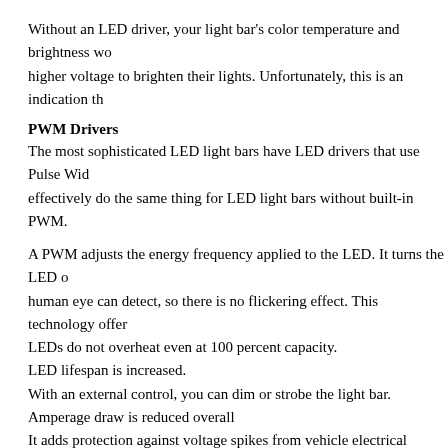Without an LED driver, your light bar's color temperature and brightness wo higher voltage to brighten their lights. Unfortunately, this is an indication th
PWM Drivers
The most sophisticated LED light bars have LED drivers that use Pulse Wid effectively do the same thing for LED light bars without built-in PWM.
A PWM adjusts the energy frequency applied to the LED. It turns the LED o human eye can detect, so there is no flickering effect. This technology offer LEDs do not overheat even at 100 percent capacity.
LED lifespan is increased.
With an external control, you can dim or strobe the light bar.
Amperage draw is reduced overall
It adds protection against voltage spikes from vehicle electrical systems.
Other Features
There are additional features you should keep in mind when evaluating LED
Warranty – Warranty length and terms help you gauge the confidence a man
LED Arrangement – LEDs may be arranged with a single, double or quad ro
Wiring Harness – The best LED light bar comes with a wiring harness that i
Multiple Circuits – Some light bars separately switch banks of LEDs for spo
Color Lenses – Snap-on colored lenses change the light bar's color.
Multi-position Brackets – Some light bars come with optional brackets or a